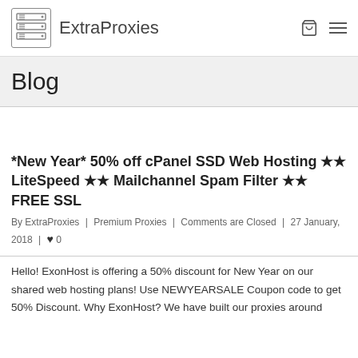ExtraProxies
Blog
*New Year* 50% off cPanel SSD Web Hosting ★★ LiteSpeed ★★ Mailchannel Spam Filter ★★ FREE SSL
By ExtraProxies | Premium Proxies | Comments are Closed | 27 January, 2018 | ♥ 0
Hello! ExonHost is offering a 50% discount for New Year on our shared web hosting plans! Use NEWYEARSALE Coupon code to get 50% Discount. Why ExonHost? We have built our proxies around...